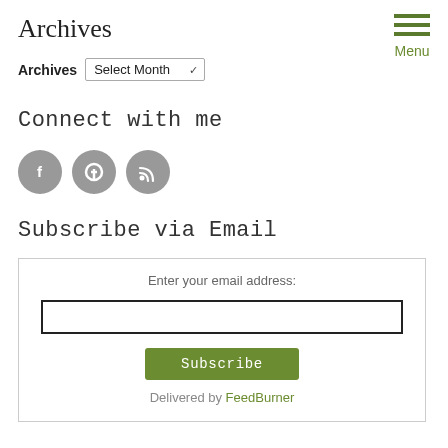Archives
[Figure (infographic): Hamburger menu icon with three olive-green horizontal bars and 'Menu' label below]
Archives   Select Month
Connect with me
[Figure (infographic): Three circular grey social media icons: Facebook (f), Pinterest (P), and RSS feed]
Subscribe via Email
Enter your email address:
Subscribe
Delivered by FeedBurner